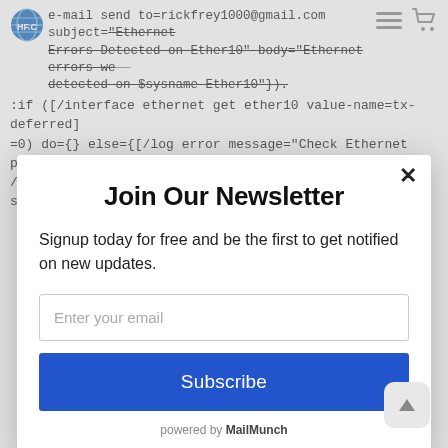e-mail send to=rickfrey1000@gmail.com subject="Ethernet Errors Detected on Ether10" body="Ethernet errors were detected on $sysname Ether10"});
:if ([/interface ethernet get ether10 value-name=tx-deferred]=0) do={} else={[/log error message="Check Ethernet ports!" /tool e-mail send to=rickfrey1000@gmail.com subject="Ethernet
Join Our Newsletter
Signup today for free and be the first to get notified on new updates.
Enter your email
Subscribe
powered by MailMunch